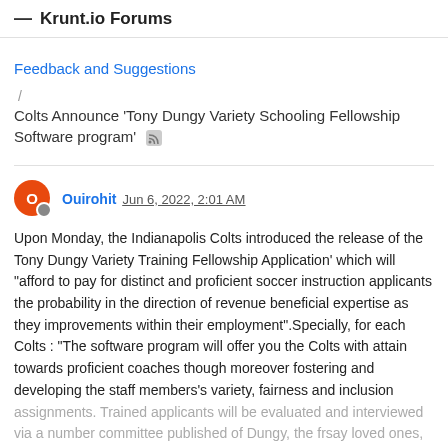Krunt.io Forums
Feedback and Suggestions
/ Colts Announce 'Tony Dungy Variety Schooling Fellowship Software program'
Ouirohit Jun 6, 2022, 2:01 AM
Upon Monday, the Indianapolis Colts introduced the release of the Tony Dungy Variety Training Fellowship Application' which will "afford to pay for distinct and proficient soccer instruction applicants the probability in the direction of revenue beneficial expertise as they improvements within their employment".Specially, for each Colts : "The software program will offer you the Colts with attain towards proficient coaches though moreover fostering and developing the staff members's variety, fairness and inclusion assignments. Trained applicants will be evaluated and interviewed via a number committee published of Dungy, the frsay loved ones,